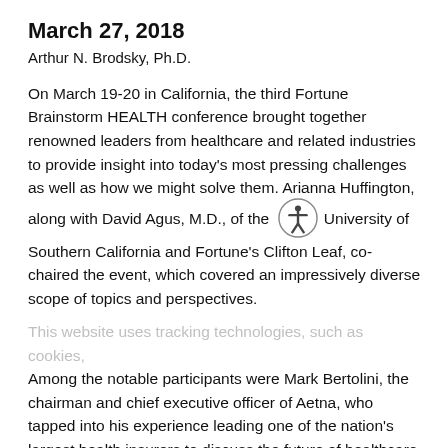March 27, 2018
Arthur N. Brodsky, Ph.D.
On March 19-20 in California, the third Fortune Brainstorm HEALTH conference brought together renowned leaders from healthcare and related industries to provide insight into today's most pressing challenges as well as how we might solve them. Arianna Huffington, along with David Agus, M.D., of the University of Southern California and Fortune's Clifton Leaf, co-chaired the event, which covered an impressively diverse scope of topics and perspectives.
Among the notable participants were Mark Bertolini, the chairman and chief executive officer of Aetna, who tapped into his experience leading one of the nation's largest health insurers to discuss the future of healthcare in America, and even Kevin Durant, the 2017 NBA Finals MVP from the Golden State Warriors, who, along with his business partner Rich Kleiman discussed